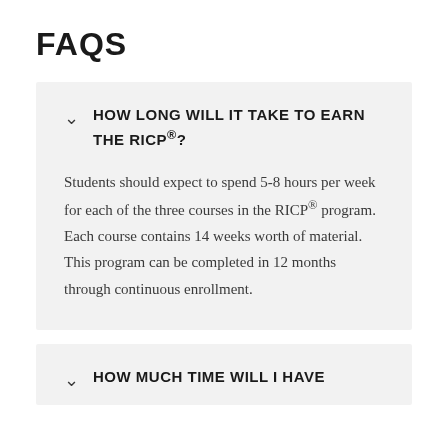FAQS
HOW LONG WILL IT TAKE TO EARN THE RICP®?
Students should expect to spend 5-8 hours per week for each of the three courses in the RICP® program. Each course contains 14 weeks worth of material. This program can be completed in 12 months through continuous enrollment.
HOW MUCH TIME WILL I HAVE